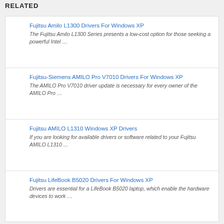RELATED
Fujitsu Amilo L1300 Drivers For Windows XP
The Fujitsu Amilo L1300 Series presents a low-cost option for those seeking a powerful Intel …
Fujitsu-Siemens AMILO Pro V7010 Drivers For Windows XP
The AMILO Pro V7010 driver update is necessary for every owner of the AMILO Pro …
Fujitsu AMILO L1310 Windows XP Drivers
If you are looking for available drivers or software related to your Fujitsu AMILO L1310 …
Fujitsu LifeBook B5020 Drivers For Windows XP
Drivers are essential for a LifeBook B5020 laptop, which enable the hardware devices to work …